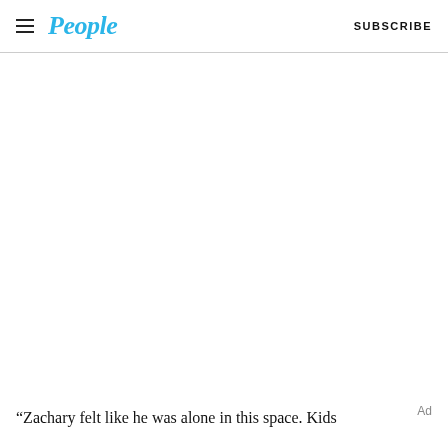People  SUBSCRIBE
[Figure (other): Large blank white image area below the header navigation]
“Zachary felt like he was alone in this space. Kids